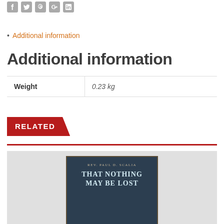Social share icons: Facebook, Twitter, Pinterest, Google+, LinkedIn
Additional information
Additional information
| Weight |  |
| --- | --- |
| Weight | 0.23 kg |
RELATED
[Figure (photo): Book cover: Rev. Paul D. Scalia - That Nothing May Be Lost]